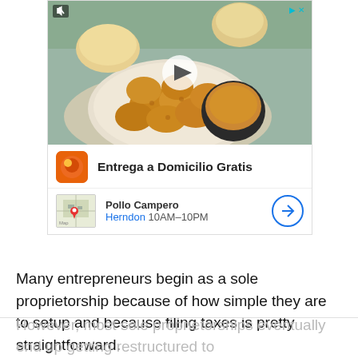[Figure (photo): Advertisement banner showing fried chicken nuggets on a plate with dipping sauce and bread rolls. Contains a play button overlay, mute icon, and close button. Below the video: restaurant ad for Pollo Campero with logo, title 'Entrega a Domicilio Gratis', map thumbnail, location 'Herndon 10AM-10PM', and navigation button.]
Many entrepreneurs begin as a sole proprietorship because of how simple they are to setup and because filing taxes is pretty straightforward.
However, most sole proprietorships eventually end up getting restructured to